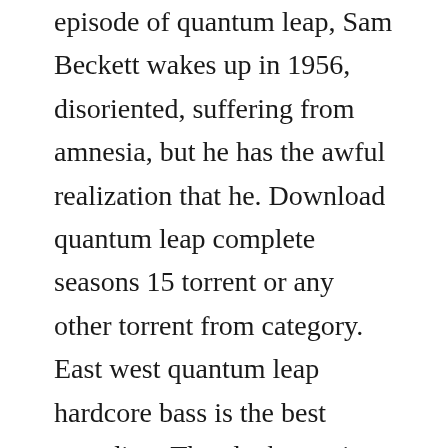episode of quantum leap, Sam Beckett wakes up in 1956, disoriented, suffering from amnesia, but he has the awful realization that he. Download quantum leap complete seasons 15 torrent or any other torrent from category. East west quantum leap hardcore bass is the best sounding. The clockstopping, heartpounding adventures continue in the third extraordinary season of the emmy award winning quantum leap. Tvguide has every full episode so you can stayuptodate and watch your favorite show quantum leap anytime, anywhere. Season 3, episode 3 october 12,